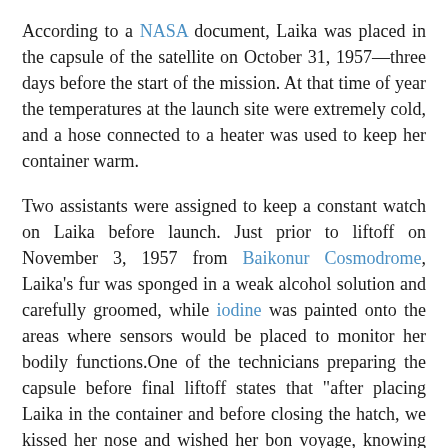According to a NASA document, Laika was placed in the capsule of the satellite on October 31, 1957—three days before the start of the mission. At that time of year the temperatures at the launch site were extremely cold, and a hose connected to a heater was used to keep her container warm.
Two assistants were assigned to keep a constant watch on Laika before launch. Just prior to liftoff on November 3, 1957 from Baikonur Cosmodrome, Laika's fur was sponged in a weak alcohol solution and carefully groomed, while iodine was painted onto the areas where sensors would be placed to monitor her bodily functions.One of the technicians preparing the capsule before final liftoff states that "after placing Laika in the container and before closing the hatch, we kissed her nose and wished her bon voyage, knowing that she would not survive the flight."
Voyage